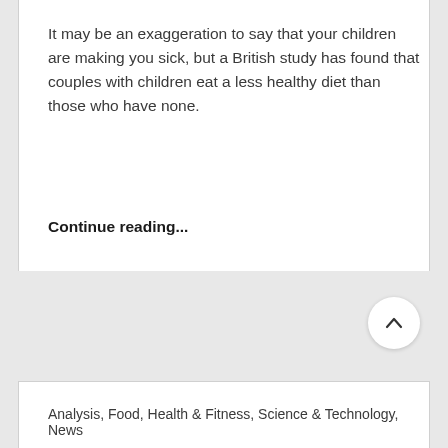It may be an exaggeration to say that your children are making you sick, but a British study has found that couples with children eat a less healthy diet than those who have none.
Continue reading...
Analysis, Food, Health & Fitness, Science & Technology, News